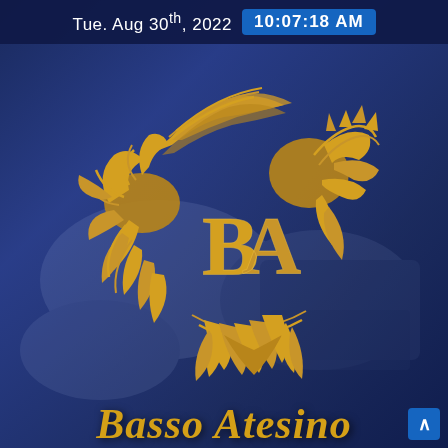Tue. Aug 30th, 2022   10:07:18 AM
[Figure (logo): Basso Atesino company logo: golden ornate dragon/phoenix circular emblem with overlapping 'BA' monogram letters in gold, on a dark navy blue background with blurred hands typing on a laptop in the background]
Basso Atesino